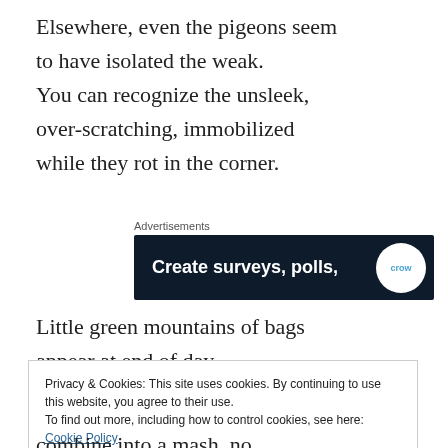Elsewhere, even the pigeons seem to have isolated the weak.
You can recognize the unsleek,
over-scratching, immobilized
while they rot in the corner.
[Figure (screenshot): Advertisement banner with dark navy background showing text 'Create surveys, polls,' in white bold font, and a white circle logo element on the right, labeled 'Advertisements' above.]
Little green mountains of bags appear at end of day,
Privacy & Cookies: This site uses cookies. By continuing to use this website, you agree to their use.
To find out more, including how to control cookies, see here: Cookie Policy
Close and accept
combine into a mash, no